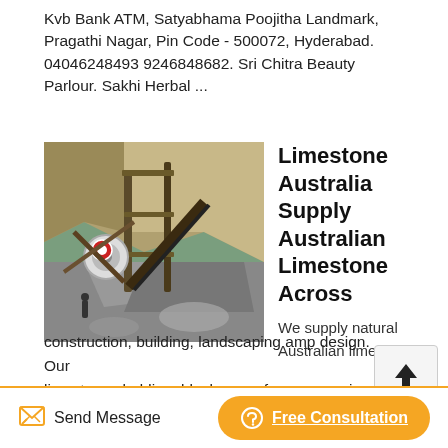Kvb Bank ATM, Satyabhama Poojitha Landmark, Pragathi Nagar, Pin Code - 500072, Hyderabad. 04046248493 9246848682. Sri Chitra Beauty Parlour. Sakhi Herbal ...
[Figure (photo): Photo of a limestone quarry with heavy machinery and rock piles]
Limestone Australia Supply Australian Limestone Across
We supply natural Australian limestone for construction, building, landscaping amp design. Our limestone cladding, blocks amp forms come in dimesnsion cut, custom sizes, amp laying patterns, in a range of textured finishes and beautiful natural colours.
Send Message
Free Consultation